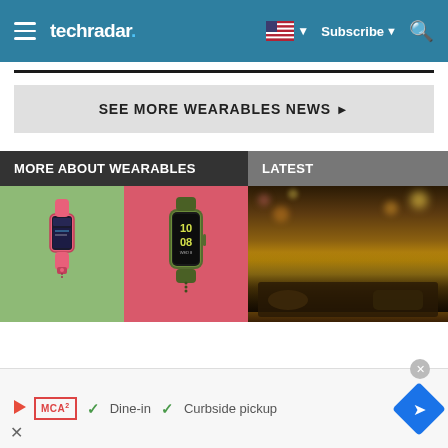techradar — Subscribe
SEE MORE WEARABLES NEWS ▶
MORE ABOUT WEARABLES
LATEST
[Figure (photo): Two fitness trackers/smartbands on green and pink backgrounds]
[Figure (photo): DJ at turntables with colorful crowd lights in background]
Dine-in  ✓  Curbside pickup